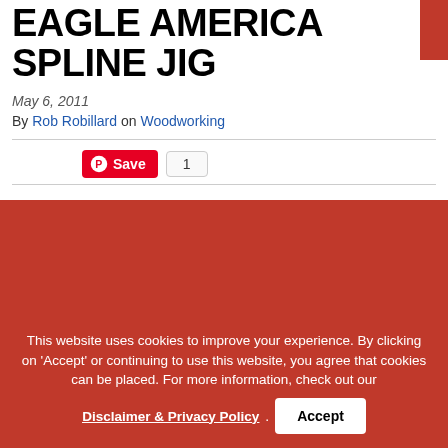EAGLE AMERICA SPLINE JIG
May 6, 2011
By Rob Robillard on Woodworking
[Figure (other): Pinterest Save button with count of 1]
[Figure (photo): Red background image area (partially visible)]
This website uses cookies to improve your experience. By clicking on 'Accept' or continuing to use this website, you agree that cookies can be placed. For more information, check out our Disclaimer & Privacy Policy . Accept